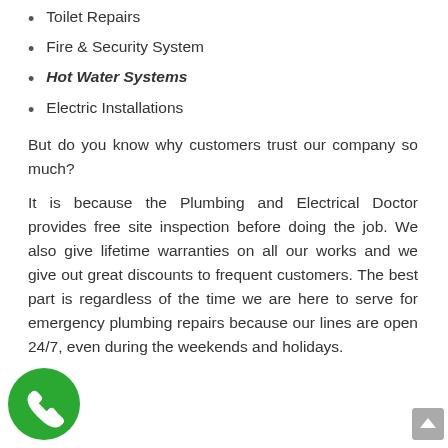Toilet Repairs
Fire & Security System
Hot Water Systems
Electric Installations
But do you know why customers trust our company so much?
It is because the Plumbing and Electrical Doctor provides free site inspection before doing the job. We also give lifetime warranties on all our works and we give out great discounts to frequent customers. The best part is regardless of the time we are here to serve for emergency plumbing repairs because our lines are open 24/7, even during the weekends and holidays.
[Figure (illustration): Green circular phone/call icon in bottom left corner]
[Figure (illustration): Gray scroll-to-top button in bottom right corner]